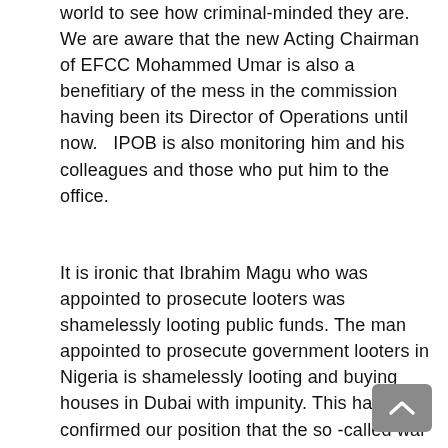world to see how criminal-minded they are. We are aware that the new Acting Chairman of EFCC Mohammed Umar is also a benefitiary of the mess in the commission having been its Director of Operations until now.  IPOB is also monitoring him and his colleagues and those who put him to the office.
It is ironic that Ibrahim Magu who was appointed to prosecute looters was shamelessly looting public funds. The man appointed to prosecute government looters in Nigeria is shamelessly looting and buying houses in Dubai with impunity. This has confirmed our position that the so -called war against corruption is a huge joke. That shows the contraption called Nigeria is gone and cannot come back forever.
People are now beginning to assimilate and understand what we call Nigerians are about and...